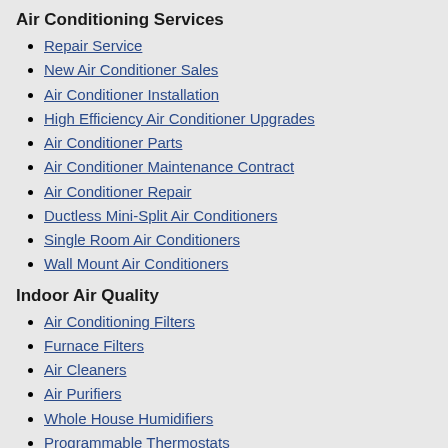Air Conditioning Services
Repair Service
New Air Conditioner Sales
Air Conditioner Installation
High Efficiency Air Conditioner Upgrades
Air Conditioner Parts
Air Conditioner Maintenance Contract
Air Conditioner Repair
Ductless Mini-Split Air Conditioners
Single Room Air Conditioners
Wall Mount Air Conditioners
Indoor Air Quality
Air Conditioning Filters
Furnace Filters
Air Cleaners
Air Purifiers
Whole House Humidifiers
Programmable Thermostats
Heat Recovery Ventilators
Ultraviolet (UV) Germicidal Lights
Other HVAC Products and Services